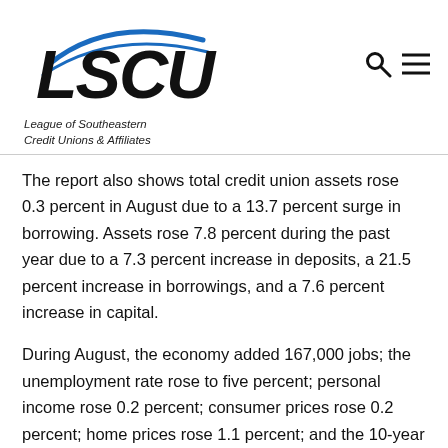[Figure (logo): LSCU - League of Southeastern Credit Unions & Affiliates logo with blue swoosh graphic and italic tagline text]
The report also shows total credit union assets rose 0.3 percent in August due to a 13.7 percent surge in borrowing. Assets rose 7.8 percent during the past year due to a 7.3 percent increase in deposits, a 21.5 percent increase in borrowings, and a 7.6 percent increase in capital.
During August, the economy added 167,000 jobs; the unemployment rate rose to five percent; personal income rose 0.2 percent; consumer prices rose 0.2 percent; home prices rose 1.1 percent; and the 10-year Treasury interest rate increased four basis points to